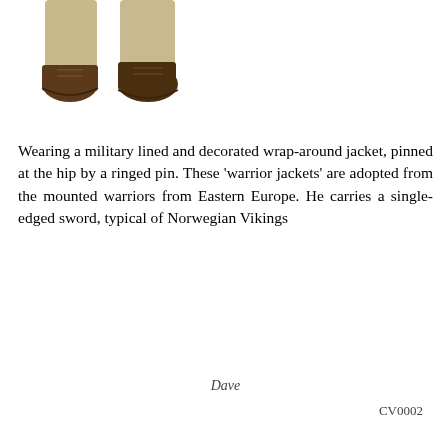[Figure (photo): Close-up of lower legs and feet wearing leather boots/shoes and light-colored trousers, cropped at the knees, white background.]
Wearing a military lined and decorated wrap-around jacket, pinned at the hip by a ringed pin. These 'warrior jackets' are adopted from the mounted warriors from Eastern Europe. He carries a single-edged sword, typical of Norwegian Vikings
Dave
CV0002
[Figure (photo): A person dressed as a Viking warrior wearing a metal nasal helmet, grey tunic, and brown leather straps, holding a long spear and a round decorated shield with red and yellow segments. A Regia Anglorum logo appears in the top left corner.]